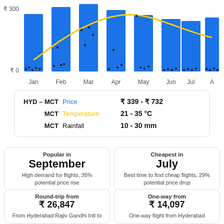[Figure (bar-chart): HYD-MCT Price chart by month]
HYD – MCT  Price  ₹ 339 - ₹ 732
MCT  Temperature  21 - 35 °C
MCT  Rainfall  10 - 30 mm
Popular in
September
High demand for flights, 35% potential price rise
Cheapest in
July
Best time to find cheap flights, 29% potential price drop
Round-trip from
₹ 26,847
From Hyderabad Rajiv Gandhi Intl to
One-way from
₹ 14,097
One-way flight from Hyderabad